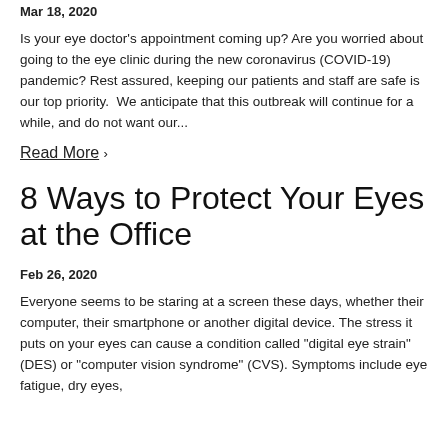Mar 18, 2020
Is your eye doctor's appointment coming up? Are you worried about going to the eye clinic during the new coronavirus (COVID-19) pandemic? Rest assured, keeping our patients and staff are safe is our top priority.  We anticipate that this outbreak will continue for a while, and do not want our...
Read More ›
8 Ways to Protect Your Eyes at the Office
Feb 26, 2020
Everyone seems to be staring at a screen these days, whether their computer, their smartphone or another digital device. The stress it puts on your eyes can cause a condition called "digital eye strain" (DES) or "computer vision syndrome" (CVS). Symptoms include eye fatigue, dry eyes,